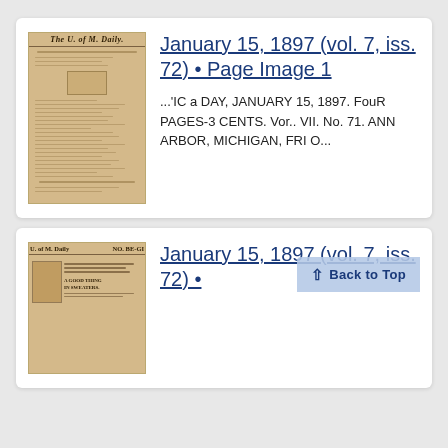[Figure (photo): Thumbnail of The U. of M. Daily newspaper front page, aged yellowish-brown paper]
January 15, 1897 (vol. 7, iss. 72) • Page Image 1
...'IC a DAY, JANUARY 15, 1897. FouR PAGES-3 CENTS. Vor.. VII. No. 71. ANN ARBOR, MICHIGAN, FRI O...
[Figure (photo): Thumbnail of The U. of M. Daily newspaper page with advertisement 'A Good Thing In Sweaters']
January 15, 1897 (vol. 7, iss. 72) •